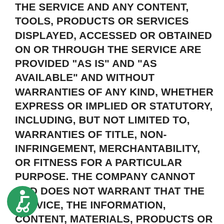THE SERVICE AND ANY CONTENT, TOOLS, PRODUCTS OR SERVICES DISPLAYED, ACCESSED OR OBTAINED ON OR THROUGH THE SERVICE ARE PROVIDED "AS IS" AND "AS AVAILABLE" AND WITHOUT WARRANTIES OF ANY KIND, WHETHER EXPRESS OR IMPLIED OR STATUTORY, INCLUDING, BUT NOT LIMITED TO, WARRANTIES OF TITLE, NON-INFRINGEMENT, MERCHANTABILITY, OR FITNESS FOR A PARTICULAR PURPOSE. THE COMPANY CANNOT AND DOES NOT WARRANT THAT THE SERVICE, THE INFORMATION, CONTENT, MATERIALS, PRODUCTS OR SERVICES INCLUDED THEREON OR OTHERWISE MADE AVAILABLE THROUGH THE SERVICE, THE SERVERS, OR ANY E-MAILS SENT FROM THE COMPANY ARE FREE OF VIRUSES AND ANY OTHER HARMFUL COMPONENTS. THE COMPANY SHALL NOT BE LIABLE FOR DAMANGES OF ANY KIND ARISING FROM THE USE OF THE SERVICE OR FROM ANY INFORMATION, CONTENT, MATERIALS, PRODUCTS OR SERVICES MADE AVAILABLE
[Figure (illustration): Accessibility icon — green circle with white wheelchair user symbol]